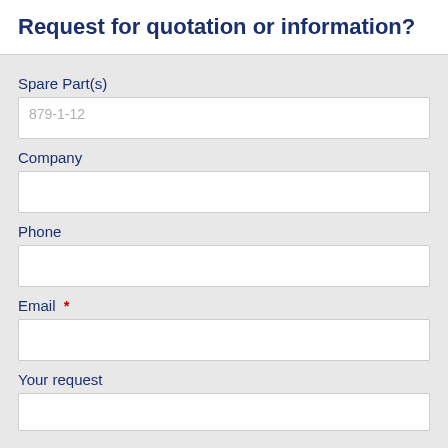Request for quotation or information?
Spare Part(s)
879-1-12
Company
Phone
Email *
Your request